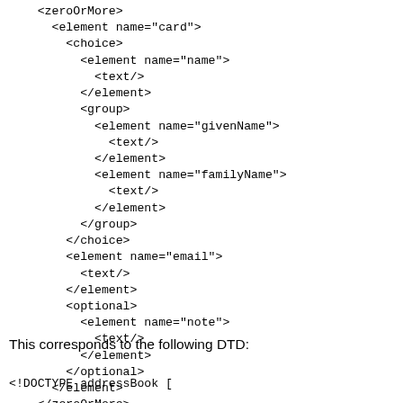<zeroOrMore>
  <element name="card">
    <choice>
      <element name="name">
        <text/>
      </element>
      <group>
        <element name="givenName">
          <text/>
        </element>
        <element name="familyName">
          <text/>
        </element>
      </group>
    </choice>
    <element name="email">
      <text/>
    </element>
    <optional>
      <element name="note">
        <text/>
      </element>
    </optional>
  </element>
</zeroOrMore>
</element>
This corresponds to the following DTD:
<!DOCTYPE addressBook [